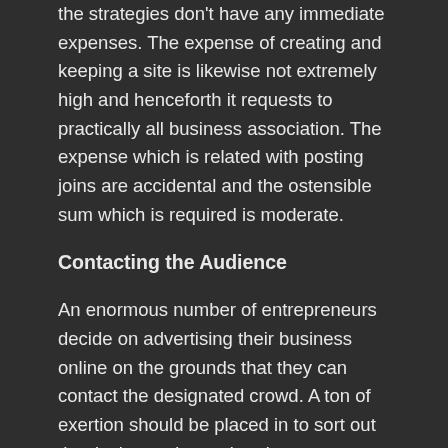the strategies don't have any immediate expenses. The expense of creating and keeping a site is likewise not extremely high and henceforth it requests to practically all business association. The expense which is related with posting joins are accidental and the ostensible sum which is required is moderate.
Contacting the Audience
An enormous number of entrepreneurs decide on advertising their business online on the grounds that they can contact the designated crowd. A ton of exertion should be placed in to sort out the designated crowd and sort out approaches to contact the designated crowd. In the event that the business